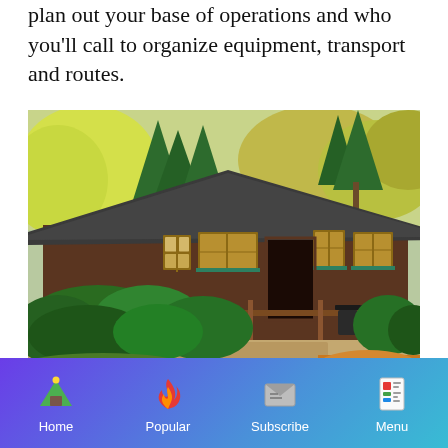plan out your base of operations and who you'll call to organize equipment, transport and routes.
[Figure (photo): Exterior photo of a rustic wooden lodge or cabin surrounded by green shrubs and autumn-colored trees. The building has a dark grey roof, wood-framed windows, and a covered entrance. A wooden ramp and walkway lead to the entrance. Outdoor furniture is visible near the entrance.]
Home  Popular  Subscribe  Menu